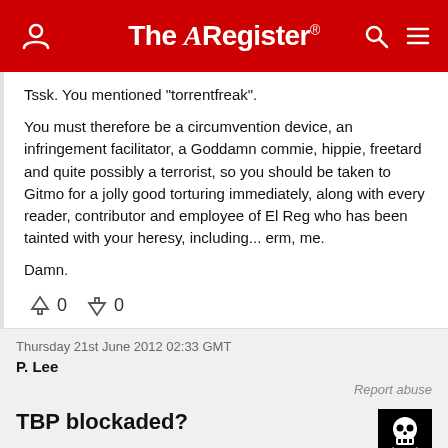The Register
Tssk. You mentioned "torrentfreak".

You must therefore be a circumvention device, an infringement facilitator, a Goddamn commie, hippie, freetard and quite possibly a terrorist, so you should be taken to Gitmo for a jolly good torturing immediately, along with every reader, contributor and employee of El Reg who has been tainted with your heresy, including... erm, me.

Damn.
↑0  ↓0
Thursday 21st June 2012 02:33 GMT
P. Lee
Report abuse
TBP blockaded?
[Figure (illustration): Skull and crossbones image (piracy symbol) on black background]